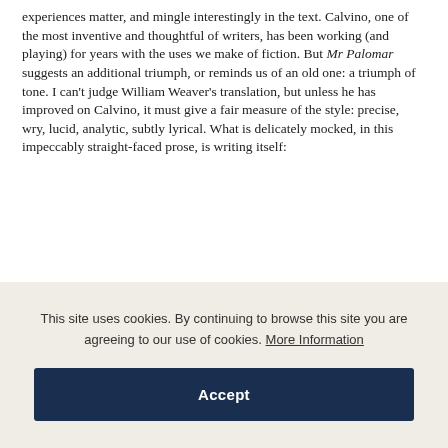experiences matter, and mingle interestingly in the text. Calvino, one of the most inventive and thoughtful of writers, has been working (and playing) for years with the uses we make of fiction. But Mr Palomar suggests an additional triumph, or reminds us of an old one: a triumph of tone. I can't judge William Weaver's translation, but unless he has improved on Calvino, it must give a fair measure of the style: precise, wry, lucid, analytic, subtly lyrical. What is delicately mocked, in this impeccably straight-faced prose, is writing itself:
This site uses cookies. By continuing to browse this site you are agreeing to our use of cookies. More Information
Accept